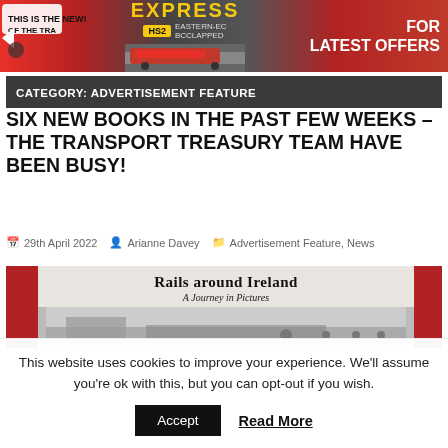[Figure (illustration): Railway Express magazine advertisement banner with train image, HS2 badge, and 'FOR LATEST OFFERS' text in red and dark background]
CATEGORY: ADVERTISEMENT FEATURE
SIX NEW BOOKS IN THE PAST FEW WEEKS – THE TRANSPORT TREASURY TEAM HAVE BEEN BUSY!
29th April 2022   Arianne Davey   Advertisement Feature, News
[Figure (photo): Book cover image: 'Rails around Ireland – A Journey in Pictures' with red spine panels and black and white railway photograph]
This website uses cookies to improve your experience. We'll assume you're ok with this, but you can opt-out if you wish.
Accept   Read More